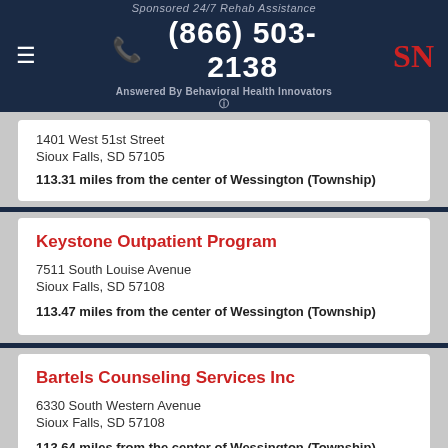Sponsored 24/7 Rehab Assistance
(866) 503-2138
Answered By Behavioral Health Innovators
1401 West 51st Street
Sioux Falls, SD 57105
113.31 miles from the center of Wessington (Township)
Keystone Outpatient Program
7511 South Louise Avenue
Sioux Falls, SD 57108
113.47 miles from the center of Wessington (Township)
Bartels Counseling Services Inc
6330 South Western Avenue
Sioux Falls, SD 57108
113.64 miles from the center of Wessington (Township)